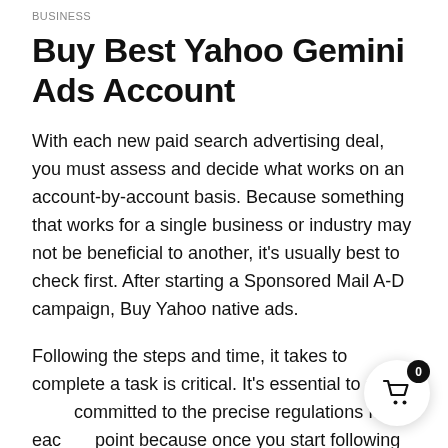BUSINESS
Buy Best Yahoo Gemini Ads Account
With each new paid search advertising deal, you must assess and decide what works on an account-by-account basis. Because something that works for a single business or industry may not be beneficial to another, it's usually best to check first. After starting a Sponsored Mail A-D campaign, Buy Yahoo native ads.
Following the steps and time, it takes to complete a task is critical. It's essential to stay committed to the precise regulations for each point because once you start following them, it's